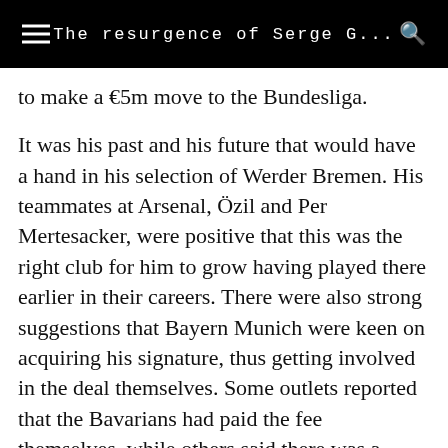The resurgence of Serge G…
to make a €5m move to the Bundesliga.
It was his past and his future that would have a hand in his selection of Werder Bremen. His teammates at Arsenal, Özil and Per Mertesacker, were positive that this was the right club for him to grow having played there earlier in their careers. There were also strong suggestions that Bayern Munich were keen on acquiring his signature, thus getting involved in the deal themselves. Some outlets reported that the Bavarians had paid the fee themselves, while others said there was a clause in his contract that allowed him to move to the Allianz Arena.